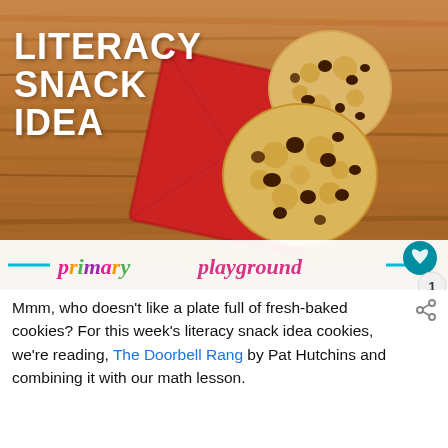[Figure (photo): Hero image showing chocolate chip cookies on a red napkin on a wood table background, with 'LITERACY SNACK IDEA' text overlay and 'primary playground' brand bar at bottom]
Mmm, who doesn't like a plate full of fresh-baked cookies? For this week's literacy snack idea cookies, we're reading, The Doorbell Rang by Pat Hutchins and combining it with our math lesson.